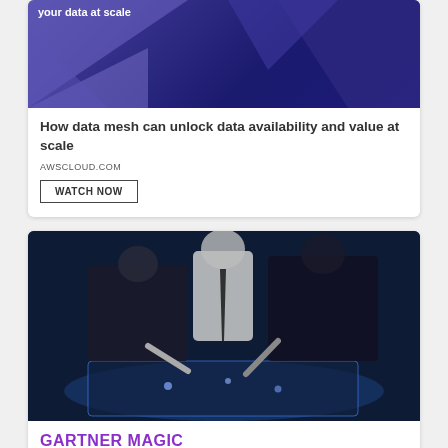[Figure (illustration): AWS cloud promotional banner with dark purple/indigo geometric shapes and text 'your data at scale']
How data mesh can unlock data availability and value at scale
AWSCLOUD.COM
WATCH NOW
[Figure (photo): Business people pointing at an interactive touchscreen table in a dark data center environment]
GARTNER MAGIC QUADRANT